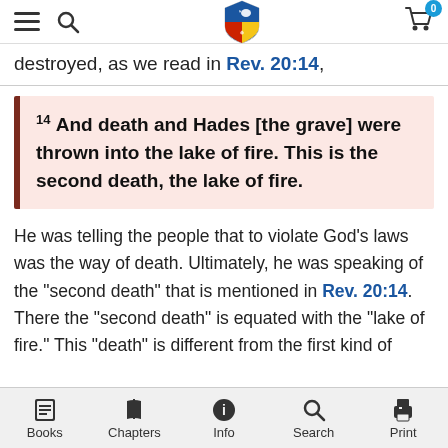Navigation bar with menu, search, logo, and cart (0 items)
destroyed, as we read in Rev. 20:14,
14 And death and Hades [the grave] were thrown into the lake of fire. This is the second death, the lake of fire.
He was telling the people that to violate God’s laws was the way of death. Ultimately, he was speaking of the “second death” that is mentioned in Rev. 20:14. There the “second death” is equated with the “lake of fire.” This “death” is different from the first kind of
Books | Chapters | Info | Search | Print